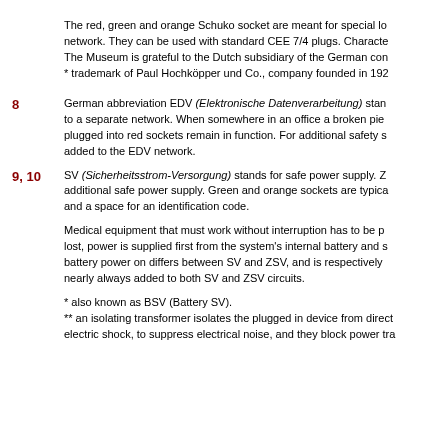The red, green and orange Schuko socket are meant for special lo network. They can be used with standard CEE 7/4 plugs. Characte The Museum is grateful to the Dutch subsidiary of the German con * trademark of Paul Hochköpper und Co., company founded in 192
8 — German abbreviation EDV (Elektronische Datenverarbeitung) stan to a separate network. When somewhere in an office a broken pie plugged into red sockets remain in function. For additional safety s added to the EDV network.
9, 10 — SV (Sicherheitsstrom-Versorgung) stands for safe power supply. Z additional safe power supply. Green and orange sockets are typica and a space for an identification code.
Medical equipment that must work without interruption has to be p lost, power is supplied first from the system's internal battery and s battery power on differs between SV and ZSV, and is respectively nearly always added to both SV and ZSV circuits.
* also known as BSV (Battery SV).
** an isolating transformer isolates the plugged in device from direct electric shock, to suppress electrical noise, and they block power tra